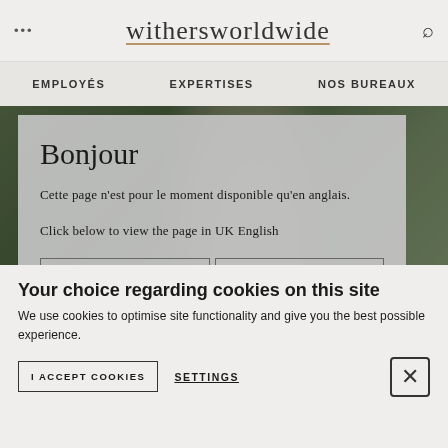withersworldwide
EMPLOYÉS   EXPERTISES   NOS BUREAUX
[Figure (photo): Blurred background photo of a person outdoors with green foliage]
Bonjour
Cette page n'est pour le moment disponible qu'en anglais.
Click below to view the page in UK English
CONTINUER   CANCEL
Your choice regarding cookies on this site
We use cookies to optimise site functionality and give you the best possible experience.
I ACCEPT COOKIES   SETTINGS